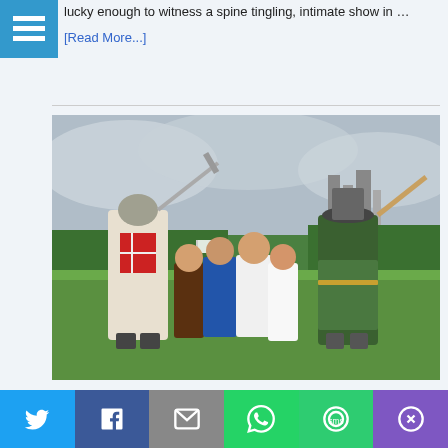lucky enough to witness a spine tingling, intimate show in …
[Read More...]
[Figure (photo): Group photo of children with two costumed medieval re-enactors holding weapons on a grassy field, with castle ruins visible in the background. One performer wears a crusader costume with a sword, and another wears a green medieval costume with a staff/bow.]
Kilmallock Walled Town Day festival brings medieval history to life
Twitter | Facebook | Email | WhatsApp | SMS | More